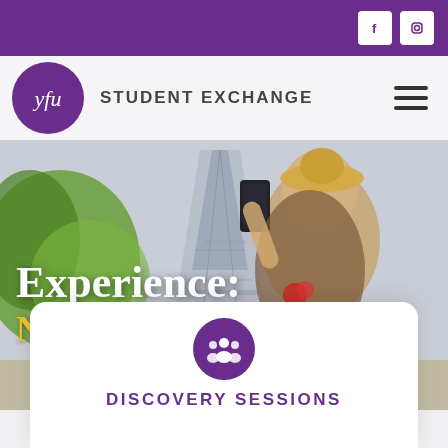YFU Student Exchange – top navigation bar with social icons (Facebook, Instagram)
[Figure (screenshot): YFU Student Exchange website screenshot showing a hero image of a young woman taking a selfie in front of the Eiffel Tower, with overlay text 'Experience: New World' and a white card at bottom with a group icon and 'DISCOVERY SESSIONS' heading]
Experience:
New World
DISCOVERY SESSIONS